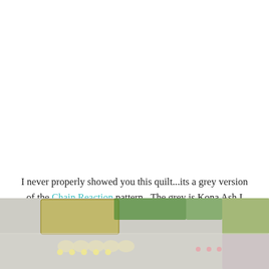I never properly showed you this quilt...its a grey version of the Chain Reaction pattern.  The grey is Kona Ash I believe, and its backed with Kona Aqua.  I love the light grey for a boy...although I think I still love the aqua version of this quilt better.
[Figure (photo): Partial view of quilting fabric and materials, showing colorful fabric swatches and possibly quilt blocks, cropped at bottom of page]